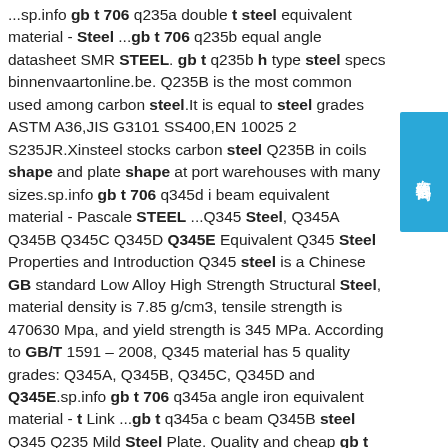...sp.info gb t 706 q235a double t steel equivalent material - Steel ...gb t 706 q235b equal angle datasheet SMR STEEL. gb t q235b h type steel specs binnenvaartonline.be. Q235B is the most common used among carbon steel.It is equal to steel grades ASTM A36,JIS G3101 SS400,EN 10025 2 S235JR.Xinsteel stocks carbon steel Q235B in coils shape and plate shape at port warehouses with many sizes.sp.info gb t 706 q345d i beam equivalent material - Pascale STEEL ...Q345 Steel, Q345A Q345B Q345C Q345D Q345E Equivalent Q345 Steel Properties and Introduction Q345 steel is a Chinese GB standard Low Alloy High Strength Structural Steel, material density is 7.85 g/cm3, tensile strength is 470630 Mpa, and yield strength is 345 MPa. According to GB/T 1591 – 2008, Q345 material has 5 quality grades: Q345A, Q345B, Q345C, Q345D and Q345E.sp.info gb t 706 q345a angle iron equivalent material - t Link ...gb t q345a c beam Q345B steel Q345 Q235 Mild Steel Plate. Quality and cheap gb t q345c